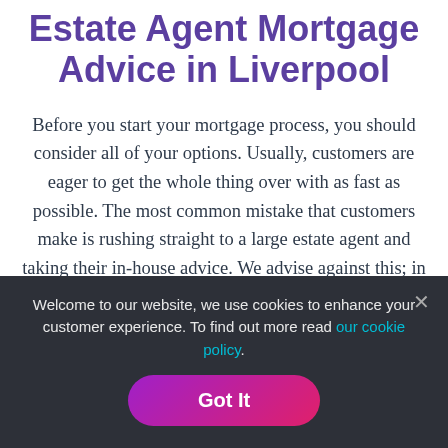Estate Agent Mortgage Advice in Liverpool
Before you start your mortgage process, you should consider all of your options. Usually, customers are eager to get the whole thing over with as fast as possible. The most common mistake that customers make is rushing straight to a large estate agent and taking their in-house advice. We advise against this; in all honestly, you can get just as good and if not better advice elsewhere!
Welcome to our website, we use cookies to enhance your customer experience. To find out more read our cookie policy.